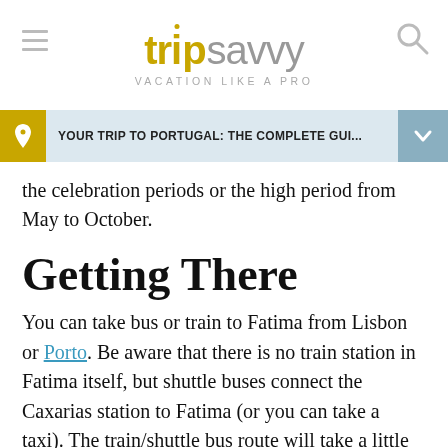tripsavvy VACATION LIKE A PRO
YOUR TRIP TO PORTUGAL: THE COMPLETE GUI...
the celebration periods or the high period from May to October.
Getting There
You can take bus or train to Fatima from Lisbon or Porto. Be aware that there is no train station in Fatima itself, but shuttle buses connect the Caxarias station to Fatima (or you can take a taxi). The train/shuttle bus route will take a little over 2 hours. Rede Express buses